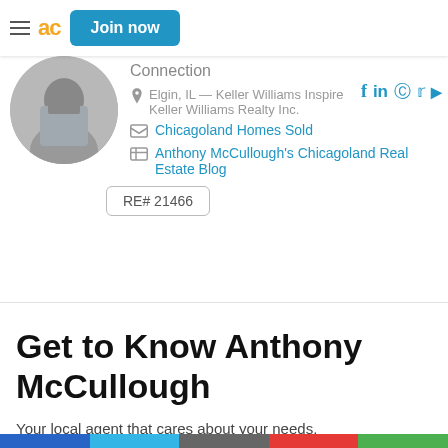Join now
[Figure (photo): Circular profile photo of Anthony McCullough in a suit]
Connection
Elgin, IL — Keller Williams Inspire
Keller Williams Realty Inc.
Chicagoland Homes Sold
Anthony McCullough's Chicagoland Real Estate Blog
RE# 21466
Get to Know Anthony McCullough
Your local agent that cares about your needs.